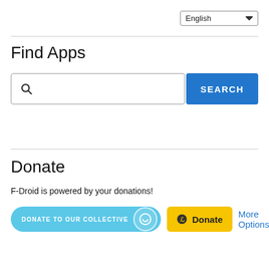[Figure (screenshot): Language selector dropdown showing 'English' with chevron]
Find Apps
[Figure (screenshot): Search bar with magnifying glass icon and blue SEARCH button]
Donate
F-Droid is powered by your donations!
[Figure (screenshot): Donate buttons: 'DONATE TO OUR COLLECTIVE' (Open Collective), 'Donate' (Liberapay), and 'More Options' link]